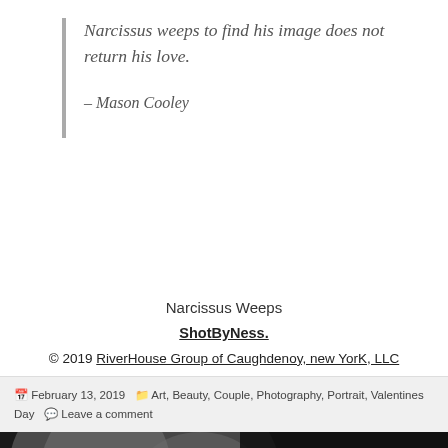Narcissus weeps to find his image does not return his love.
– Mason Cooley
Narcissus Weeps
ShotByNess.
© 2019 RiverHouse Group of Caughdenoy, new YorK, LLC
February 13, 2019  Art, Beauty, Couple, Photography, Portrait, Valentines Day  Leave a comment
[Figure (photo): Black and white close-up photo of a couple's faces with overlay text 'Couple Portrai' and '$85']